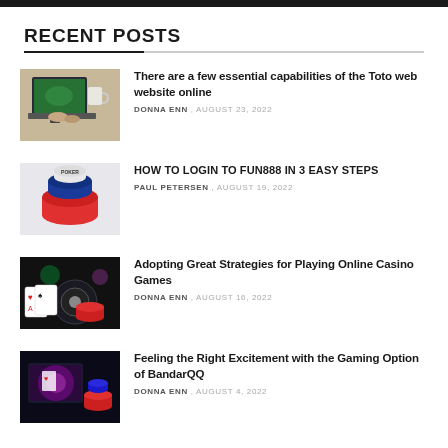RECENT POSTS
There are a few essential capabilities of the Toto web website online | DONNA ENN , AUGUST 23, 2022
HOW TO LOGIN TO FUN888 IN 3 EASY STEPS | PAUL PETERSEN , AUGUST 19, 2022
Adopting Great Strategies for Playing Online Casino Games | DONNA ENN , AUGUST 16, 2022
Feeling the Right Excitement with the Gaming Option of BandarQQ | DONNA ENN , AUGUST 4, 2022